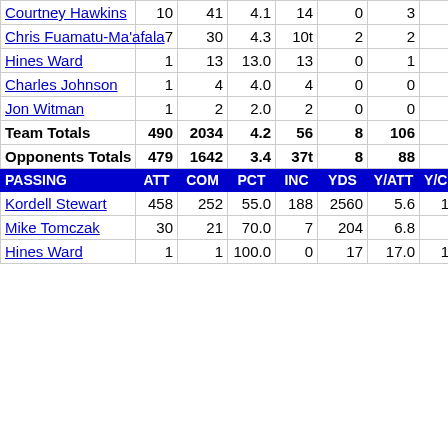|  | ATT | COM/YDS | PCT/AVG | INC/LG | YDS/TD | Y/ATT | Y/COM | LG |
| --- | --- | --- | --- | --- | --- | --- | --- | --- |
| Courtney Hawkins | 10 | 41 | 4.1 | 14 | 0 | 3 | 0 | 0 | 0 |
| Chris Fuamatu-Ma'afala | 7 | 30 | 4.3 | 10t | 2 | 2 | 0 | 0 | 0 |
| Hines Ward | 1 | 13 | 13.0 | 13 | 0 | 1 | 0 | 0 | 0 |
| Charles Johnson | 1 | 4 | 4.0 | 4 | 0 | 0 | 0 | 0 | 0 |
| Jon Witman | 1 | 2 | 2.0 | 2 | 0 | 0 | 0 | 0 | 0 |
| Team Totals | 490 | 2034 | 4.2 | 56 | 8 | 106 | 7 | 3 | 7 |
| Opponents Totals | 479 | 1642 | 3.4 | 37t | 8 | 88 | 4 | 0 | 9 |
| PASSING | ATT | COM | PCT | INC | YDS | Y/ATT | Y/COM | LG |
| Kordell Stewart | 458 | 252 | 55.0 | 188 | 2560 | 5.6 | 10.2 | 55 |
| Mike Tomczak | 30 | 21 | 70.0 | 7 | 204 | 6.8 | 9.7 | 42 |
| Hines Ward | 1 | 1 | 100.0 | 0 | 17 | 17.0 | 17.0 | 17 |